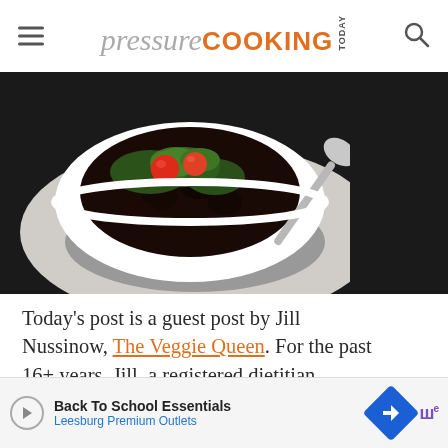pressure COOKING TODAY
[Figure (photo): A white bowl filled with black beans topped with cherry tomatoes and fresh cilantro, placed on a white plate with a silver spoon beside it, dark background]
Today’s post is a guest post by Jill Nussinow, The Veggie Queen. For the past 16+ years, Jill, a registered dietitian, cooking teacher and cookbook author, has been teaching people ho to ... get gre ... t recent
[Figure (other): Teal circular heart/favorite button with number 2 badge and share icon]
Back To School Essentials
Leesburg Premium Outlets